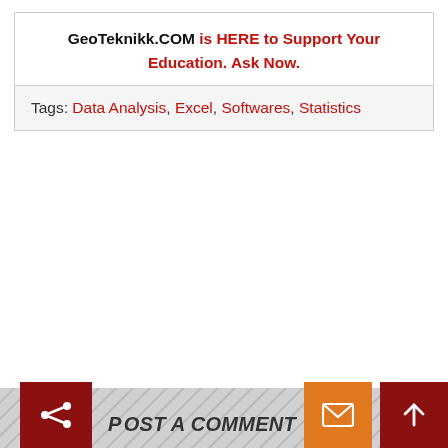GeoTeknikk.COM is HERE to Support Your Education. Ask Now.
Tags: Data Analysis, Excel, Softwares, Statistics
POST A COMMENT